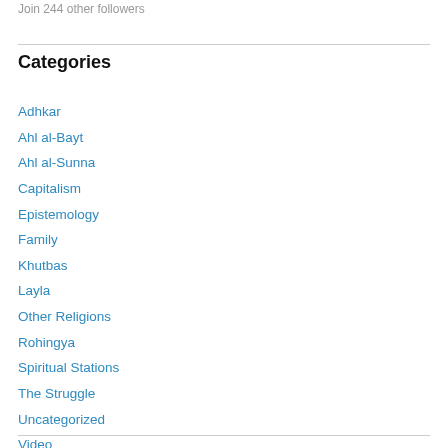Join 244 other followers
Categories
Adhkar
Ahl al-Bayt
Ahl al-Sunna
Capitalism
Epistemology
Family
Khutbas
Layla
Other Religions
Rohingya
Spiritual Stations
The Struggle
Uncategorized
Video